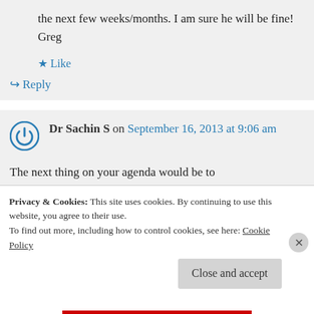the next few weeks/months. I am sure he will be fine! Greg
★ Like
↪ Reply
Dr Sachin S on September 16, 2013 at 9:06 am
The next thing on your agenda would be to get a fistula placed as this is less septic
Privacy & Cookies: This site uses cookies. By continuing to use this website, you agree to their use.
To find out more, including how to control cookies, see here: Cookie Policy